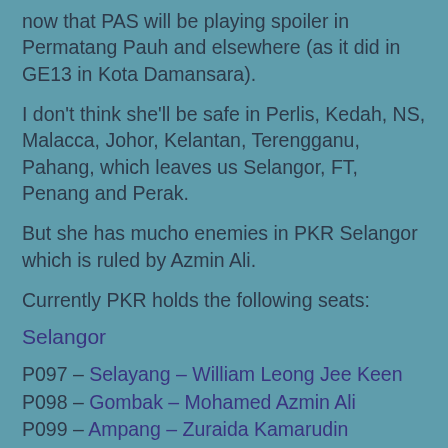now that PAS will be playing spoiler in Permatang Pauh and elsewhere (as it did in GE13 in Kota Damansara).
I don't think she'll be safe in Perlis, Kedah, NS, Malacca, Johor, Kelantan, Terengganu, Pahang, which leaves us Selangor, FT, Penang and Perak.
But she has mucho enemies in PKR Selangor which is ruled by Azmin Ali.
Currently PKR holds the following seats:
Selangor
P097 – Selayang – William Leong Jee Keen
P098 – Gombak – Mohamed Azmin Ali
P099 – Ampang – Zuraida Kamarudin
P100 – Pandan – Rafizi Ramli
P104 – Kelana Jaya – Wong Chen